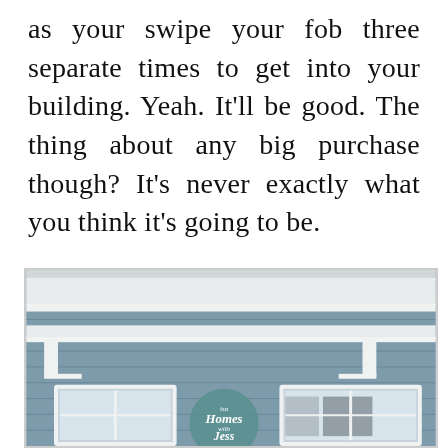as your swipe your fob three separate times to get into your building. Yeah. It'll be good. The thing about any big purchase though? It's never exactly what you think it's going to be.
[Figure (photo): Exterior photo of a blue house with white trim, porch overhang with brackets, and windows. A circular logo reading 'Homes with Jess' is overlaid at the bottom center.]